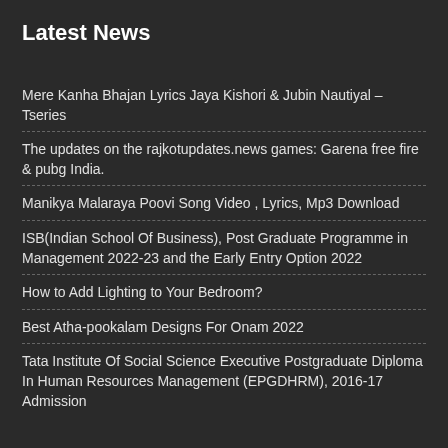Latest News
Mere Kanha Bhajan Lyrics Jaya Kishori & Jubin Nautiyal – Tseries
The updates on the rajkotupdates.news games: Garena free fire & pubg India.
Manikya Malaraya Poovi Song Video , Lyrics, Mp3 Download
ISB(Indian School Of Business), Post Graduate Programme in Management 2022-23 and the Early Entry Option 2022
How to Add Lighting to Your Bedroom?
Best Atha-pookalam Designs For Onam 2022
Tata Institute Of Social Science Executive Postgraduate Diploma In Human Resources Management (EPGDHRM), 2016-17 Admission